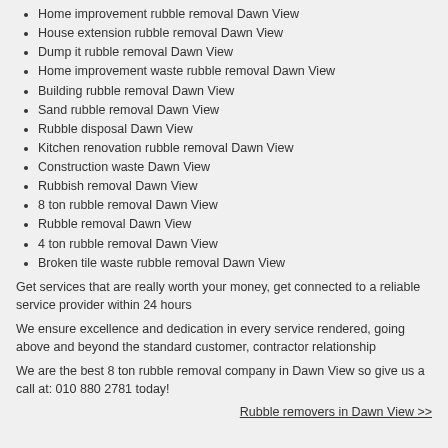Home improvement rubble removal Dawn View
House extension rubble removal Dawn View
Dump it rubble removal Dawn View
Home improvement waste rubble removal Dawn View
Building rubble removal Dawn View
Sand rubble removal Dawn View
Rubble disposal Dawn View
Kitchen renovation rubble removal Dawn View
Construction waste Dawn View
Rubbish removal Dawn View
8 ton rubble removal Dawn View
Rubble removal Dawn View
4 ton rubble removal Dawn View
Broken tile waste rubble removal Dawn View
Get services that are really worth your money, get connected to a reliable service provider within 24 hours
We ensure excellence and dedication in every service rendered, going above and beyond the standard customer, contractor relationship
We are the best 8 ton rubble removal company in Dawn View so give us a call at: 010 880 2781 today!
Rubble removers in Dawn View >>